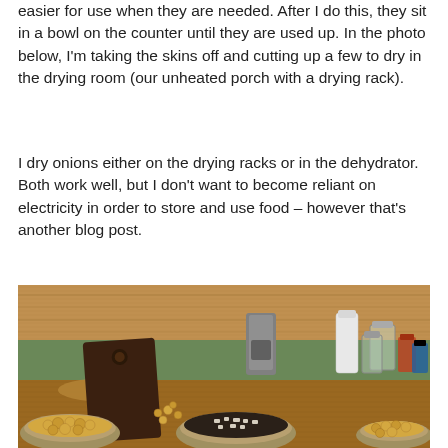easier for use when they are needed. After I do this, they sit in a bowl on the counter until they are used up. In the photo below, I'm taking the skins off and cutting up a few to dry in the drying room (our unheated porch with a drying rack).
I dry onions either on the drying racks or in the dehydrator. Both work well, but I don't want to become reliant on electricity in order to store and use food – however that's another blog post.
[Figure (photo): Kitchen counter scene showing multiple metal bowls filled with small onions, a dark wooden cutting board, a blender, glass jars, a white bottle, and various spice containers on a wooden surface with a green wall in the background.]